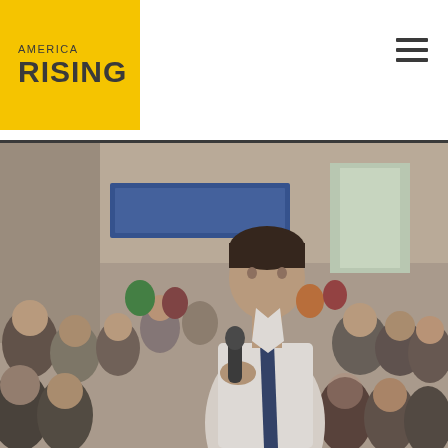America Rising
[Figure (photo): A man in a white dress shirt and dark tie holds a microphone and speaks to a large crowd gathered in what appears to be a community hall or meeting room. The crowd behind him is blurred but shows many seated and standing attendees.]